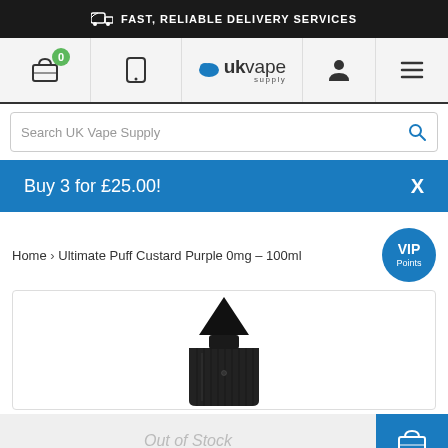FAST, RELIABLE DELIVERY SERVICES
[Figure (screenshot): UK Vape Supply navigation bar with cart icon (0 items), phone icon, UK Vape Supply logo, user icon, and hamburger menu]
Search UK Vape Supply
Buy 3 for £25.00!
Home › Ultimate Puff Custard Purple 0mg - 100ml
[Figure (photo): Black e-liquid bottle with ribbed body and conical cap, shown from above against white background]
Out of Stock